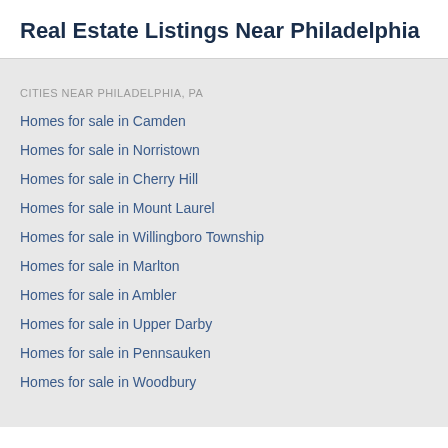Real Estate Listings Near Philadelphia
CITIES NEAR PHILADELPHIA, PA
Homes for sale in Camden
Homes for sale in Norristown
Homes for sale in Cherry Hill
Homes for sale in Mount Laurel
Homes for sale in Willingboro Township
Homes for sale in Marlton
Homes for sale in Ambler
Homes for sale in Upper Darby
Homes for sale in Pennsauken
Homes for sale in Woodbury